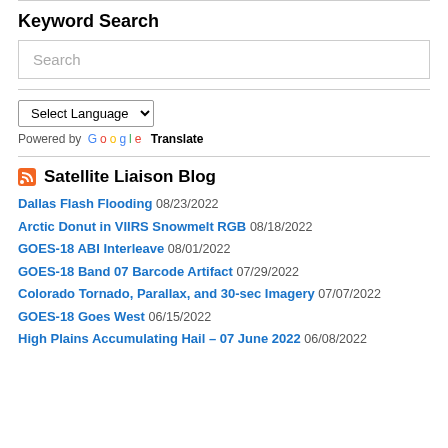Keyword Search
Search
Select Language
Powered by Google Translate
Satellite Liaison Blog
Dallas Flash Flooding 08/23/2022
Arctic Donut in VIIRS Snowmelt RGB 08/18/2022
GOES-18 ABI Interleave 08/01/2022
GOES-18 Band 07 Barcode Artifact 07/29/2022
Colorado Tornado, Parallax, and 30-sec Imagery 07/07/2022
GOES-18 Goes West 06/15/2022
High Plains Accumulating Hail – 07 June 2022 06/08/2022